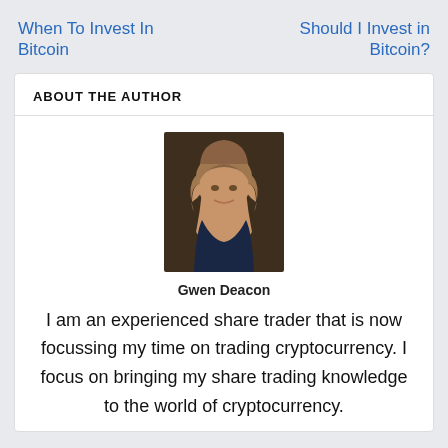When To Invest In Bitcoin
Should I Invest in Bitcoin?
ABOUT THE AUTHOR
[Figure (photo): Portrait photo of Gwen Deacon, a woman with long blonde hair, smiling, wearing a dark top, photographed indoors.]
Gwen Deacon
I am an experienced share trader that is now focussing my time on trading cryptocurrency. I focus on bringing my share trading knowledge to the world of cryptocurrency.